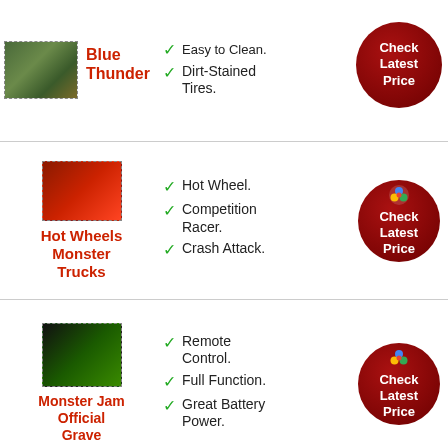Blue Thunder — Dirt-Stained Tires. Check Latest Price
Hot Wheels Monster Trucks — Hot Wheel. Competition Racer. Crash Attack. Check Latest Price
Monster Jam Official Grave — Remote Control. Full Function. Great Battery Power. Check Latest Price
DEERC — High Quality. Check Latest Price